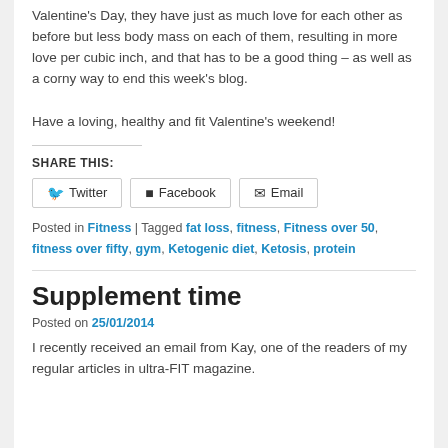Valentine's Day, they have just as much love for each other as before but less body mass on each of them, resulting in more love per cubic inch, and that has to be a good thing – as well as a corny way to end this week's blog.
Have a loving, healthy and fit Valentine's weekend!
SHARE THIS:
Twitter  Facebook  Email
Posted in Fitness | Tagged fat loss, fitness, Fitness over 50, fitness over fifty, gym, Ketogenic diet, Ketosis, protein
Supplement time
Posted on 25/01/2014
I recently received an email from Kay, one of the readers of my regular articles in ultra-FIT magazine.